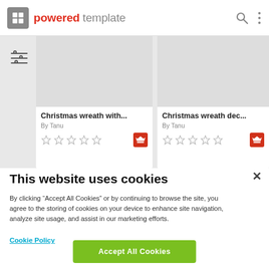powered template
[Figure (screenshot): Template grid showing two Christmas wreath product cards with titles, author names, star ratings, and premium badges]
Christmas wreath with...
By Tanu
Christmas wreath dec...
By Tanu
This website uses cookies
By clicking “Accept All Cookies” or by continuing to browse the site, you agree to the storing of cookies on your device to enhance site navigation, analyze site usage, and assist in our marketing efforts.
Cookie Policy
Accept All Cookies